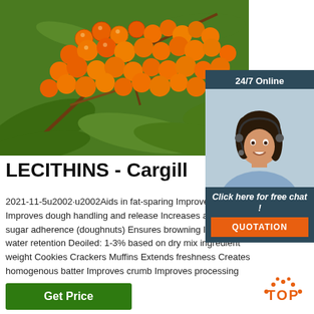[Figure (photo): Close-up photo of orange sea buckthorn berries on branches with green leaves]
[Figure (photo): 24/7 Online customer service representative with headset, smiling, with 'Click here for free chat!' text and QUOTATION button]
LECITHINS - Cargill
2021-11-5u2002·u2002Aids in fat-sparing Improves mixing Improves dough handling and release Increases absorption sugar adherence (doughnuts) Ensures browning Improves water retention Deoiled: 1-3% based on dry mix ingredient weight Cookies Crackers Muffins Extends freshness Creates homogenous batter Improves crumb Improves processing
[Figure (logo): TOP badge with orange dotted arc above the word TOP in orange]
Get Price